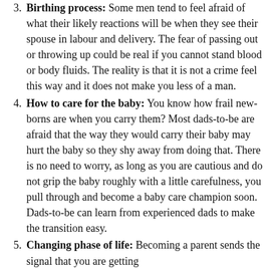Birthing process: Some men tend to feel afraid of what their likely reactions will be when they see their spouse in labour and delivery. The fear of passing out or throwing up could be real if you cannot stand blood or body fluids. The reality is that it is not a crime feel this way and it does not make you less of a man.
How to care for the baby: You know how frail new-borns are when you carry them? Most dads-to-be are afraid that the way they would carry their baby may hurt the baby so they shy away from doing that. There is no need to worry, as long as you are cautious and do not grip the baby roughly with a little carefulness, you pull through and become a baby care champion soon. Dads-to-be can learn from experienced dads to make the transition easy.
Changing phase of life: Becoming a parent sends the signal that you are getting